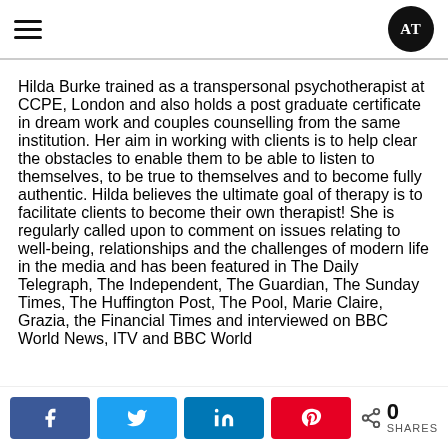AT logo and navigation hamburger menu
Hilda Burke trained as a transpersonal psychotherapist at CCPE, London and also holds a post graduate certificate in dream work and couples counselling from the same institution. Her aim in working with clients is to help clear the obstacles to enable them to be able to listen to themselves, to be true to themselves and to become fully authentic. Hilda believes the ultimate goal of therapy is to facilitate clients to become their own therapist! She is regularly called upon to comment on issues relating to well-being, relationships and the challenges of modern life in the media and has been featured in The Daily Telegraph, The Independent, The Guardian, The Sunday Times, The Huffington Post, The Pool, Marie Claire, Grazia, the Financial Times and interviewed on BBC World News, ITV and BBC World
Social share bar: Facebook, Twitter, LinkedIn, Pinterest, 0 SHARES